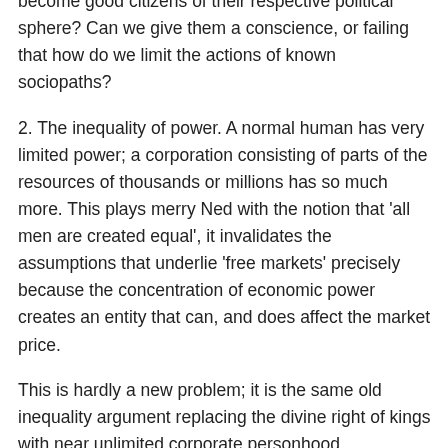become good citizens of their respective political sphere? Can we give them a conscience, or failing that how do we limit the actions of known sociopaths?
2. The inequality of power. A normal human has very limited power; a corporation consisting of parts of the resources of thousands or millions has so much more. This plays merry Ned with the notion that 'all men are created equal', it invalidates the assumptions that underlie 'free markets' precisely because the concentration of economic power creates an entity that can, and does affect the market price.
This is hardly a new problem; it is the same old inequality argument replacing the divine right of kings with near unlimited corporate personhood